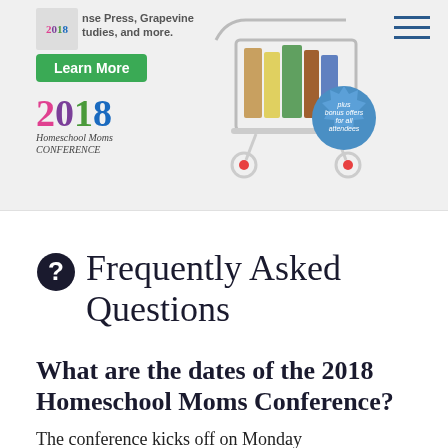[Figure (screenshot): 2018 Homeschool Moms Conference banner advertisement showing colorful 2018 logo, tagline about conference studies and more, a green Learn More button, a shopping cart with books, and a blue badge saying 'plus bonus offers for all attendees'. Hamburger menu icon in top right.]
❓ Frequently Asked Questions
What are the dates of the 2018 Homeschool Moms Conference?
The conference kicks off on Monday